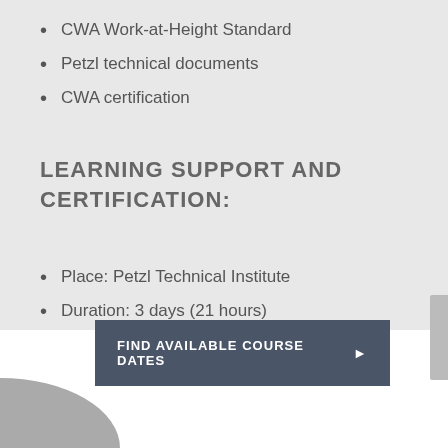CWA Work-at-Height Standard
Petzl technical documents
CWA certification
LEARNING SUPPORT AND CERTIFICATION:
Place: Petzl Technical Institute
Duration: 3 days (21 hours)
FIND AVAILABLE COURSE DATES ▶